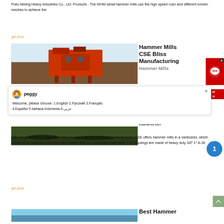Pollo Mining Heavy Industries Co., Ltd. Products . The WHM serial hammer mills use the high speed rotor and different screen meshes to achieve the
get price
[Figure (photo): Photo of a large red industrial machine (hammer mill) against a light background]
Hammer Mills CSE Bliss Manufacturing Hammer Mills
[Figure (screenshot): Chat popup with avatar of Peggy, showing language options: 1.English 2.Русский 3.Français 4.Español 5.bahasa Indonesia 6.عربى]
experience along with using customer suggestion that you can only get from directly in the industry. CSE offers hammer mills in a variety of sizes, which allows us to meet any size reduction needs that our customers may have. The housings are made of heavy duty 3/8" 1" A-36
get price
Best Hammer